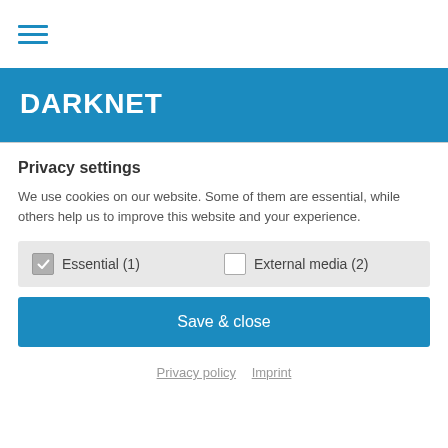[Figure (other): Hamburger menu icon with three horizontal blue lines]
DARKNET
Privacy settings
We use cookies on our website. Some of them are essential, while others help us to improve this website and your experience.
Essential (1)   External media (2)
Save & close
Privacy policy   Imprint